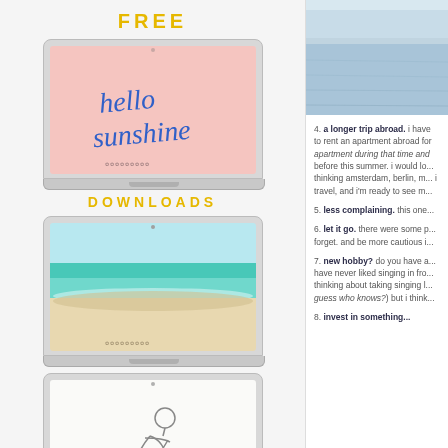FREE
[Figure (screenshot): Laptop with 'hello sunshine' wallpaper in blue script on pink background]
DOWNLOADS
[Figure (screenshot): Laptop with beach/ocean waves wallpaper]
[Figure (screenshot): Laptop with minimalist line-art figure sketch wallpaper]
[Figure (photo): Ocean/sea horizon photograph, blue tones]
4. a longer trip abroad. i have to rent an apartment abroad for... apartment during that time and... before this summer. i would lo... thinking amsterdam, berlin, m... i travel, and i'm ready to see m...
5. less complaining. this one...
6. let it go. there were some p... forget. and be more cautious i...
7. new hobby? do you have a... have never liked singing in fro... thinking about taking singing l... guess who knows?) but i think...
8. invest in something...